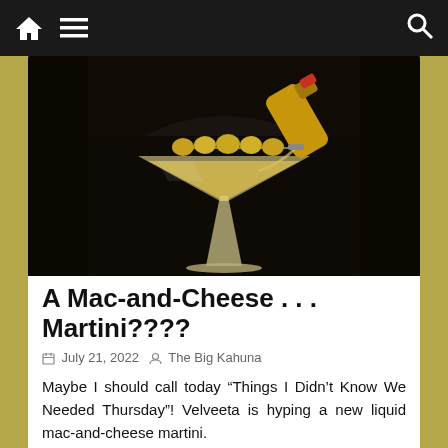Navigation bar with home, menu, and search icons
[Figure (photo): A bartender pouring liquid from a gold cocktail shaker into a martini glass garnished with olives on a skewer, dark background]
A Mac-and-Cheese . . . Martini????
July 21, 2022   The Big Kahuna
Maybe I should call today “Things I Didn’t Know We Needed Thursday”! Velveeta is hyping a new liquid mac-and-cheese martini.
Read more